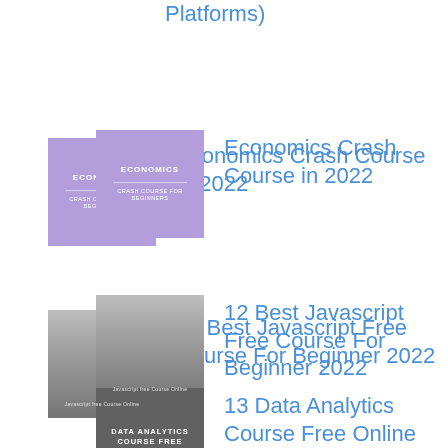Platforms)
[Figure (illustration): Book cover for Economics Crash Course for Beginners with purple background and white text]
Economics Crash Course in 2022
[Figure (illustration): Thumbnail for Javascript Free Course Online showing gray desk scene with text overlay]
12 Best Javascript Free Course For Beginner 2022
[Figure (illustration): Book cover for Data Analytics Course Free with dark gray background and white text]
13 Data Analytics Course Free Online With Certificate in 2022